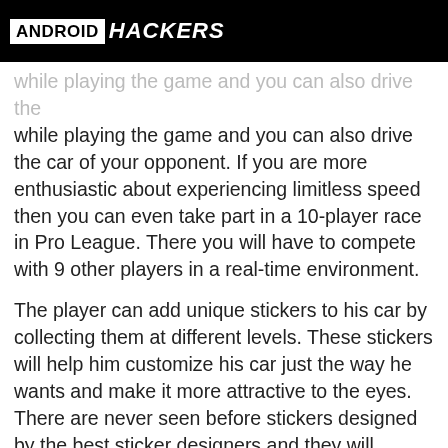ANDROID HACKERS
while playing the game and you can also drive the car of your opponent. If you are more enthusiastic about experiencing limitless speed then you can even take part in a 10-player race in Pro League. There you will have to compete with 9 other players in a real-time environment.
The player can add unique stickers to his car by collecting them at different levels. These stickers will help him customize his car just the way he wants and make it more attractive to the eyes. There are never seen before stickers designed by the best sticker designers and they will enhance the look of the car.
Driving a car at a very high speed and maintaining its correct alignment is not an easy task. The player will